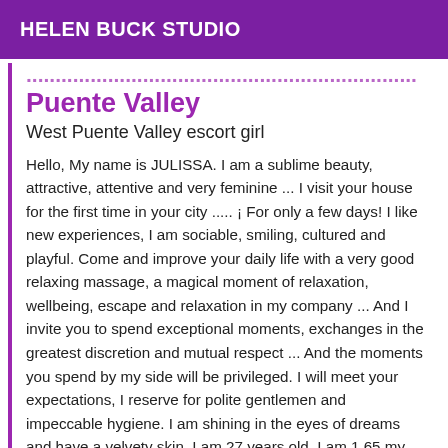HELEN BUCK STUDIO
Puente Valley
West Puente Valley escort girl
Hello, My name is JULISSA. I am a sublime beauty, attractive, attentive and very feminine ... I visit your house for the first time in your city ..... ¡ For only a few days! I like new experiences, I am sociable, smiling, cultured and playful. Come and improve your daily life with a very good relaxing massage, a magical moment of relaxation, wellbeing, escape and relaxation in my company ... And I invite you to spend exceptional moments, exchanges in the greatest discretion and mutual respect ... And the moments you spend by my side will be privileged. I will meet your expectations, I reserve for polite gentlemen and impeccable hygiene. I am shining in the eyes of dreams and have a velvety skin. I am 27 years old, I am 1.65 my 60 kgs, I like discretion...